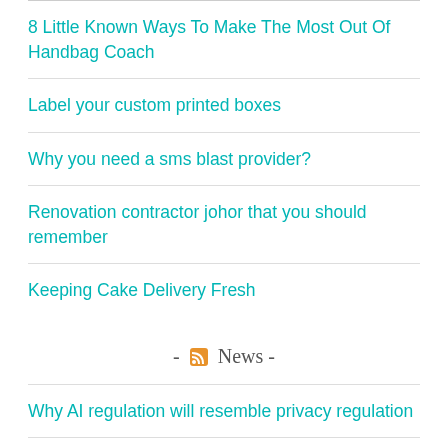8 Little Known Ways To Make The Most Out Of Handbag Coach
Label your custom printed boxes
Why you need a sms blast provider?
Renovation contractor johor that you should remember
Keeping Cake Delivery Fresh
- News -
Why AI regulation will resemble privacy regulation